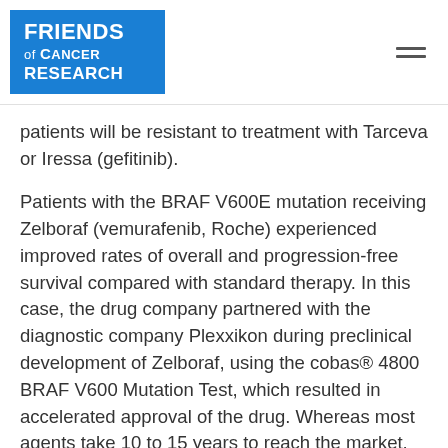[Figure (logo): Friends of Cancer Research logo — blue square background with white text]
patients will be resistant to treatment with Tarceva or Iressa (gefitinib).
Patients with the BRAF V600E mutation receiving Zelboraf (vemurafenib, Roche) experienced improved rates of overall and progression-free survival compared with standard therapy. In this case, the drug company partnered with the diagnostic company Plexxikon during preclinical development of Zelboraf, using the cobas® 4800 BRAF V600 Mutation Test, which resulted in accelerated approval of the drug. Whereas most agents take 10 to 15 years to reach the market, Zelboraf reached the market